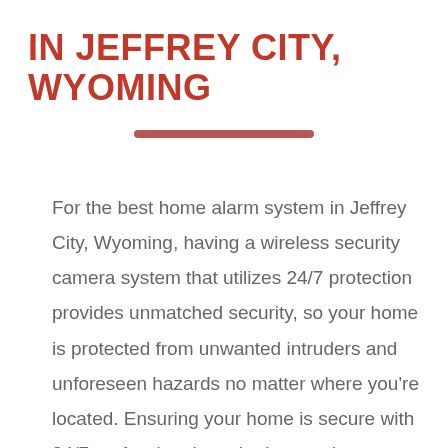IN JEFFREY CITY, WYOMING
For the best home alarm system in Jeffrey City, Wyoming, having a wireless security camera system that utilizes 24/7 protection provides unmatched security, so your home is protected from unwanted intruders and unforeseen hazards no matter where you're located. Ensuring your home is secure with 24/7 professional monitoring services provides you with constant security any time day or night. By being able to directly communicate with authorities, you can be assured a professional monitoring service can dispatch police or